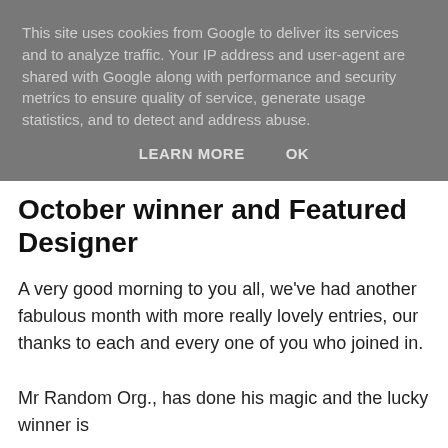This site uses cookies from Google to deliver its services and to analyze traffic. Your IP address and user-agent are shared with Google along with performance and security metrics to ensure quality of service, generate usage statistics, and to detect and address abuse.
LEARN MORE   OK
October winner and Featured Designer
A very good morning to you all, we've had another fabulous month with more really lovely entries, our thanks to each and every one of you who joined in.
Mr Random Org., has done his magic and the lucky winner is
True Random Number